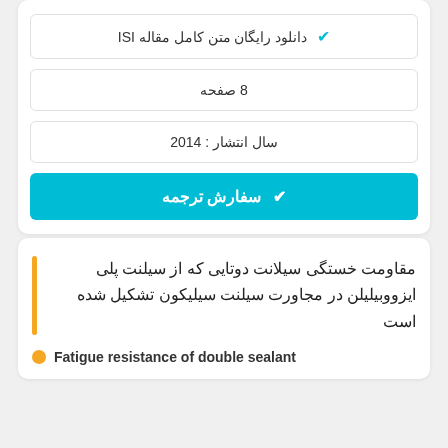✔ دانلود رایگان متن کامل مقاله ISI
8 صفحه
سال انتشار : 2014
✔ سفارش ترجمه
مقاومت خستگی سیلانت دوتایی که از سیلنت پلی ایزووبیلیلن در مجاورت سیلنت سیلیکون تشکیل شده است
Fatigue resistance of double sealant...